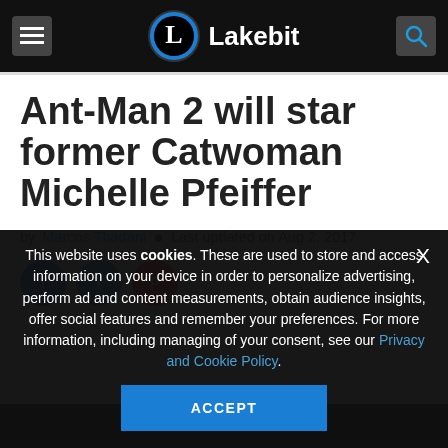Lakebit
Ant-Man 2 will star former Catwoman Michelle Pfeiffer
by Marcos Thadani • Last updated on Aug 2, 2017
[Figure (other): Social media share buttons: Facebook, Twitter, Pinterest]
This website uses cookies. These are used to store and access information on your device in order to personalize advertising, perform ad and content measurements, obtain audience insights, offer social features and remember your preferences. For more information, including managing of your consent, see our Privacy and Cookie Policy.
ACCEPT